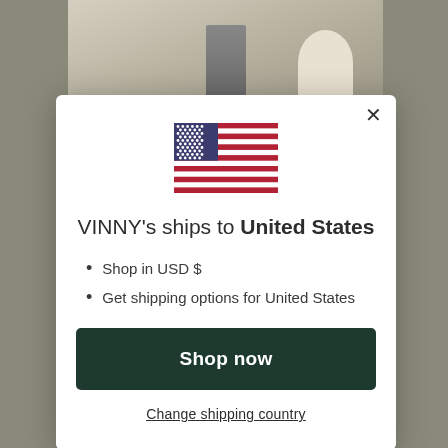[Figure (screenshot): Background of a webpage showing a fashion photo at top and italic bold text at bottom reading 'United States, what are you hoping to accomplish?' with yellow highlight]
[Figure (infographic): Modal dialog popup with US flag, text 'VINNY's ships to United States', bullet points, Shop now button, and Change shipping country link]
VINNY's ships to United States
Shop in USD $
Get shipping options for United States
Shop now
Change shipping country